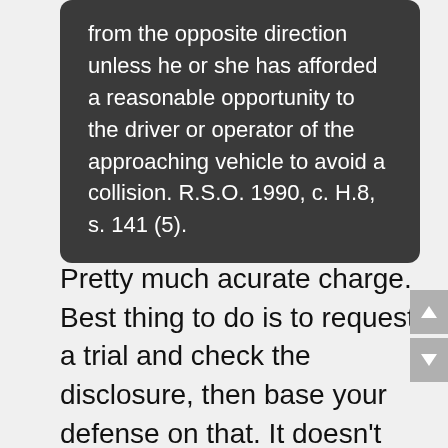from the opposite direction unless he or she has afforded a reasonable opportunity to the driver or operator of the approaching vehicle to avoid a collision. R.S.O. 1990, c. H.8, s. 141 (5).
Pretty much acurate charge. Best thing to do is to request a trial and check the disclosure, then base your defense on that. It doesn't hurt to try this, maybe take a plea deal, but either way, you have nothing